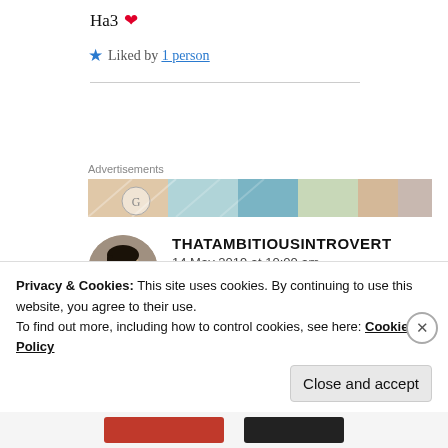Ha3 ❤
★ Liked by 1 person
Advertisements
[Figure (photo): Advertisement banner strip with colorful decorative pattern]
[Figure (photo): User avatar photo of a young woman with glasses and dark hair]
THATAMBITIOUSINTROVERT
14 May 2019 at 10:00 am
Privacy & Cookies: This site uses cookies. By continuing to use this website, you agree to their use.
To find out more, including how to control cookies, see here: Cookie Policy
Close and accept